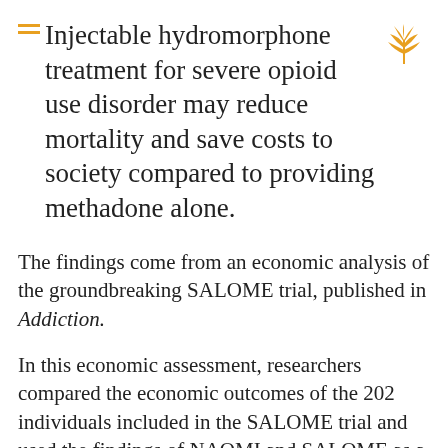Injectable hydromorphone treatment for severe opioid use disorder may reduce mortality and save costs to society compared to providing methadone alone.
The findings come from an economic analysis of the groundbreaking SALOME trial, published in Addiction.
In this economic assessment, researchers compared the economic outcomes of the 202 individuals included in the SALOME trial and used the findings of NAOMI and SALOME as a basis for lifetime individual projections of risk